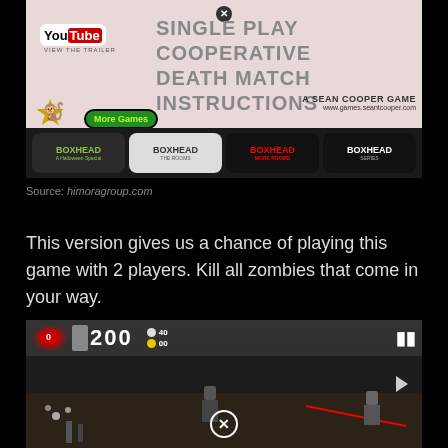[Figure (screenshot): BoxHead game menu screenshot showing YouTube 'View the Trailer' button, menu options (SINGLE PLAY, COOPERATIVE, DEATH MATCH, INSTRUCTIONS), a monkey 'More Games' button, 'A Sean Cooper Game' branding, and four BoxHead game logos at the bottom.]
Source: himoragroup.com
This version gives us a chance of playing this game with 2 players. Kill all zombies that come in your way.
[Figure (screenshot): BoxHead game screenshot showing HUD with score 200, blood splatter, health/ammo indicators, and game scene with zombie characters.]